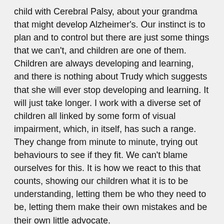child with Cerebral Palsy, about your grandma that might develop Alzheimer's. Our instinct is to plan and to control but there are just some things that we can't, and children are one of them. Children are always developing and learning, and there is nothing about Trudy which suggests that she will ever stop developing and learning. It will just take longer. I work with a diverse set of children all linked by some form of visual impairment, which, in itself, has such a range. They change from minute to minute, trying out behaviours to see if they fit. We can't blame ourselves for this. It is how we react to this that counts, showing our children what it is to be understanding, letting them be who they need to be, letting them make their own mistakes and be their own little advocate.
This blog is about how Patrick has kept us grounded throughout the difficult times we have had with Trudy but how life has taken on a normality that might be hard to understand for some. Here are some of the remarkable photos that Jo has taken of our family to